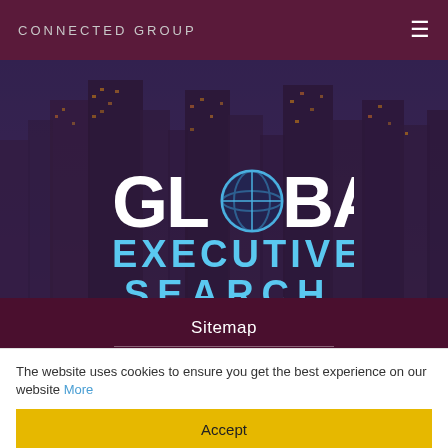CONNECTED GROUP
[Figure (screenshot): Hero image showing a city skyline at dusk/night with tall illuminated buildings, overlaid with the 'GLOBAL EXECUTIVE SEARCH' logo text. The logo features a globe icon replacing the 'O' in GLOBAL, with blue and white lettering.]
Sitemap
Privacy Policy
The website uses cookies to ensure you get the best experience on our website More
Accept